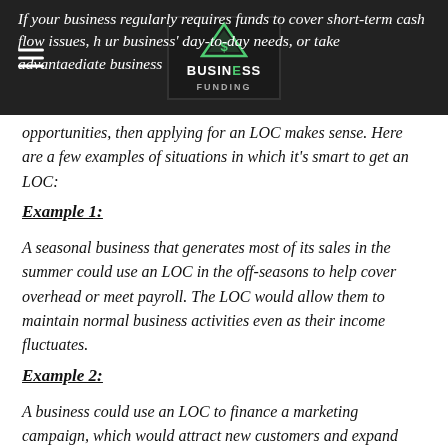If your business regularly requires funds to cover short-term cash flow issues, help cover your business' day-to-day needs, or take advantage of immediate business opportunities, then applying for an LOC makes sense. Here are a few examples of situations in which it's smart to get an LOC:
Example 1:
A seasonal business that generates most of its sales in the summer could use an LOC in the off-seasons to help cover overhead or meet payroll. The LOC would allow them to maintain normal business activities even as their income fluctuates.
Example 2:
A business could use an LOC to finance a marketing campaign, which would attract new customers and expand sales. The new debt will be paid off quickly because the campaign will generate additional revenue